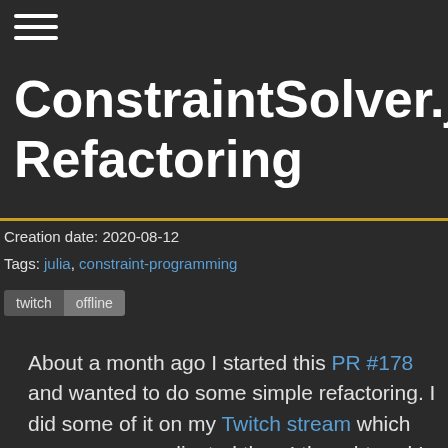ConstraintSolver.jl Refactoring
Creation date: 2020-08-12
Tags: julia, constraint-programming
twitch offline
About a month ago I started this PR #178 and wanted to do some simple refactoring. I did some of it on my Twitch stream which was more complicated than I thought and I already imagined it to be complicated. Running test cases is taking too much time but I might have a way how I can speed that up now :) and the project is just very big...